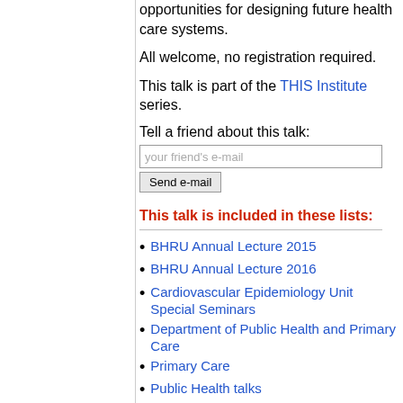opportunities for designing future health care systems.
All welcome, no registration required.
This talk is part of the THIS Institute series.
Tell a friend about this talk:
This talk is included in these lists:
BHRU Annual Lecture 2015
BHRU Annual Lecture 2016
Cardiovascular Epidemiology Unit Special Seminars
Department of Public Health and Primary Care
Primary Care
Public Health talks
PublicHealth@Cambridge
Small Seminar Room, Institute